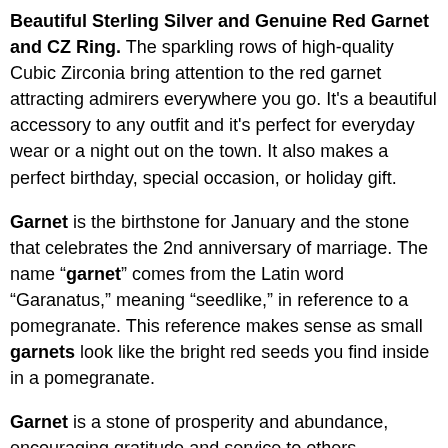Beautiful Sterling Silver and Genuine Red Garnet and CZ Ring. The sparkling rows of high-quality Cubic Zirconia bring attention to the red garnet attracting admirers everywhere you go. It's a beautiful accessory to any outfit and it's perfect for everyday wear or a night out on the town. It also makes a perfect birthday, special occasion, or holiday gift.
Garnet is the birthstone for January and the stone that celebrates the 2nd anniversary of marriage. The name "garnet" comes from the Latin word "Garanatus," meaning "seedlike," in reference to a pomegranate. This reference makes sense as small garnets look like the bright red seeds you find inside in a pomegranate.
Garnet is a stone of prosperity and abundance, encouraging gratitude and service to others. Associated with the Base, Sacral, Solar Plexus and Heart Chakras, and Grossular ,Garnet is a deeply spiritual stone.
- Genuine 925 Sterling Silver setting with a four prong setting.